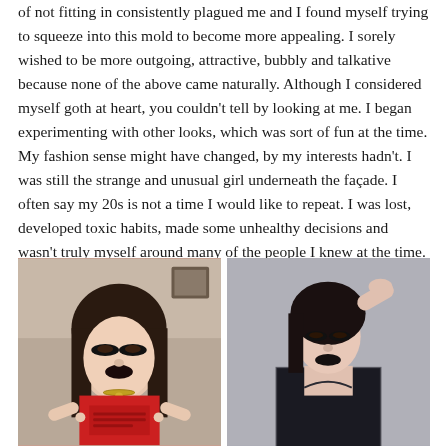of not fitting in consistently plagued me and I found myself trying to squeeze into this mold to become more appealing. I sorely wished to be more outgoing, attractive, bubbly and talkative because none of the above came naturally. Although I considered myself goth at heart, you couldn't tell by looking at me. I began experimenting with other looks, which was sort of fun at the time. My fashion sense might have changed, by my interests hadn't. I was still the strange and unusual girl underneath the façade. I often say my 20s is not a time I would like to repeat. I was lost, developed toxic habits, made some unhealthy decisions and wasn't truly myself around many of the people I knew at the time.
[Figure (photo): Left photo: A young woman with goth makeup — heavy black eye makeup and black lipstick — wearing a red t-shirt, pointing at the text on the shirt. She has long dark hair. Indoor setting.]
[Figure (photo): Right photo: A woman with goth-style makeup — dark eye shadow and black lipstick — wearing a black lace top, hand raised to her dark hair. Gray background.]